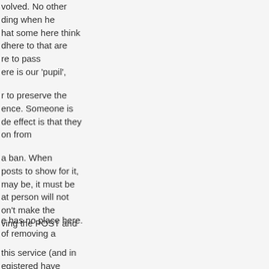volved. No other ding when he hat some here think dhere to that are re to pass ere is our 'pupil',
r to preserve the ence. Someone is de effect is that they on from
a ban. When posts to show for it, may be, it must be at person will not on't make the ving the POST and
e has no place here. of removing a
this service (and in egistered have t seems obvious to hen, as I said, they